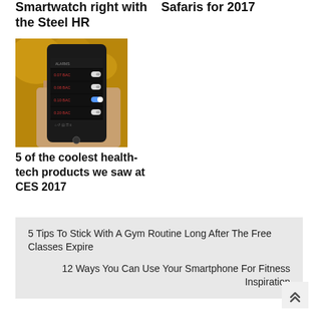Smartwatch right with the Steel HR
Safaris for 2017
[Figure (photo): Hand holding a smartphone displaying an alarm/BAC app with dark interface showing readings 0.07 BAC, 0.08 BAC, 0.10 BAC, 0.20 BAC]
5 of the coolest health-tech products we saw at CES 2017
5 Tips To Stick With A Gym Routine Long After The Free Classes Expire
12 Ways You Can Use Your Smartphone For Fitness Inspiration